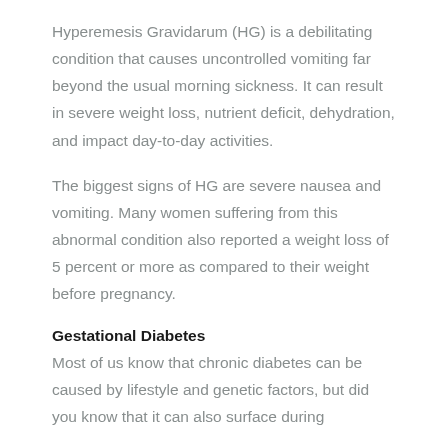Hyperemesis Gravidarum (HG) is a debilitating condition that causes uncontrolled vomiting far beyond the usual morning sickness. It can result in severe weight loss, nutrient deficit, dehydration, and impact day-to-day activities.
The biggest signs of HG are severe nausea and vomiting. Many women suffering from this abnormal condition also reported a weight loss of 5 percent or more as compared to their weight before pregnancy.
Gestational Diabetes
Most of us know that chronic diabetes can be caused by lifestyle and genetic factors, but did you know that it can also surface during